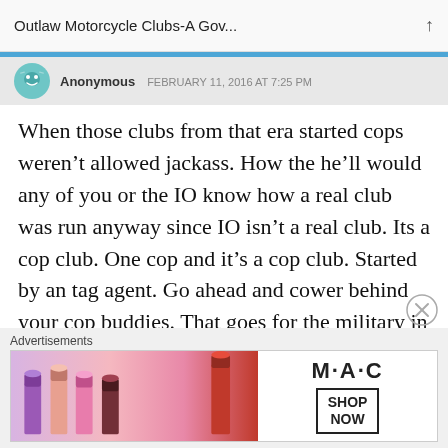Outlaw Motorcycle Clubs-A Gov...
Anonymous   FEBRUARY 11, 2016 AT 7:25 PM
When those clubs from that era started cops weren't allowed jackass. How the he'll would any of you or the IO know how a real club was run anyway since IO isn't a real club. Its a cop club. One cop and it's a cop club. Started by an tag agent. Go ahead and cower behind your cop buddies. That goes for the military in your ranks. Got no use for an Active Duty ie member
Advertisements
[Figure (photo): MAC cosmetics advertisement banner showing lipsticks and MAC logo with SHOP NOW button]